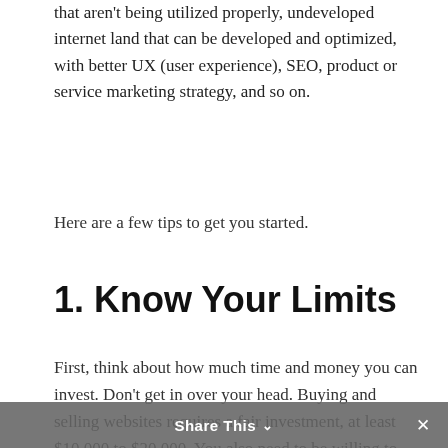that aren't being utilized properly, undeveloped internet land that can be developed and optimized, with better UX (user experience), SEO, product or service marketing strategy, and so on.
Here are a few tips to get you started.
1. Know Your Limits
First, think about how much time and money you can invest. Don't get in over your head. Buying and selling websites requires a fair investment, at least $10,000 to $20,000. You also need to be willing to put in the time to find a good site, improve the site, and find a good buyer / negotiate a deal. If you find a website that's already passively making money, for example, maybe you don't need to make that many changes. If you have a ton of capital, on the other hand, maybe you won't need as
Share This